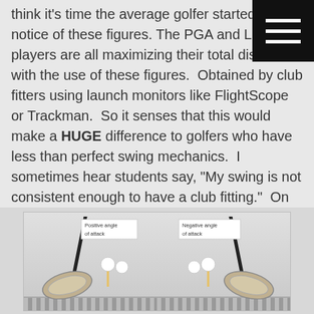think it's time the average golfer started taking notice of these figures. The PGA and LPGA players are all maximizing their total distance with the use of these figures. Obtained by club fitters using launch monitors like FlightScope or Trackman. So it senses that this would make a HUGE difference to golfers who have less than perfect swing mechanics. I sometimes hear students say, "My swing is not consistent enough to have a club fitting." On the contrary, it's these golfers who will benefit the most from having clubs that will suit their inconsistent games! Thanks so much to David Dusek of Golfweek for this interesting article!
[Figure (illustration): Two golf club driver heads shown at address position. Left club labeled 'Positive angle of attack' with golf ball on tee. Right club labeled 'Negative angle of attack' with golf ball on tee. Checkered ground surface visible.]